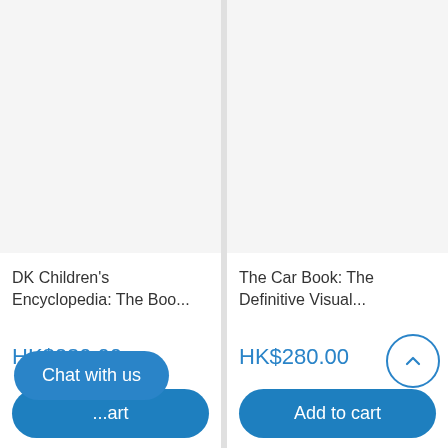[Figure (screenshot): Gray placeholder image area for left product (DK Children's Encyclopedia)]
DK Children's Encyclopedia: The Boo...
HK$280.00
...art
Chat with us
[Figure (screenshot): Gray placeholder image area for right product (The Car Book)]
The Car Book: The Definitive Visual...
HK$280.00
Add to cart